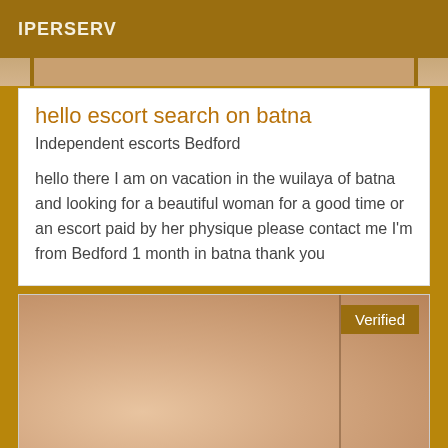IPERSERV
[Figure (photo): Partial photo strip at top of listing card]
hello escort search on batna
Independent escorts Bedford
hello there I am on vacation in the wuilaya of batna and looking for a beautiful woman for a good time or an escort paid by her physique please contact me I'm from Bedford 1 month in batna thank you
[Figure (photo): Close-up skin photo with Verified badge in top right corner]